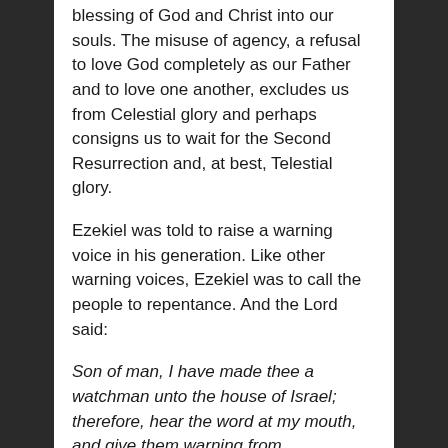blessing of God and Christ into our souls. The misuse of agency, a refusal to love God completely as our Father and to love one another, excludes us from Celestial glory and perhaps consigns us to wait for the Second Resurrection and, at best, Telestial glory.
Ezekiel was told to raise a warning voice in his generation. Like other warning voices, Ezekiel was to call the people to repentance. And the Lord said:
Son of man, I have made thee a watchman unto the house of Israel; therefore, hear the word at my mouth, and give them warning from